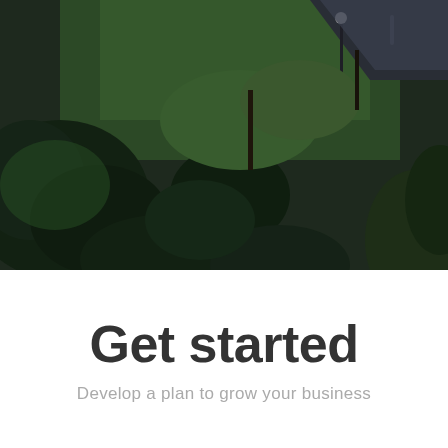[Figure (photo): Aerial view of a green landscaped garden with trees, shrubs, manicured lawn, a lamp post, and a road visible in the upper right corner. The image is dark-toned, taken from above.]
Get started
Develop a plan to grow your business